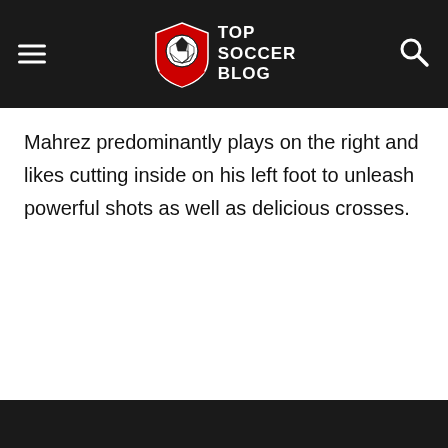Top Soccer Blog
Mahrez predominantly plays on the right and likes cutting inside on his left foot to unleash powerful shots as well as delicious crosses.